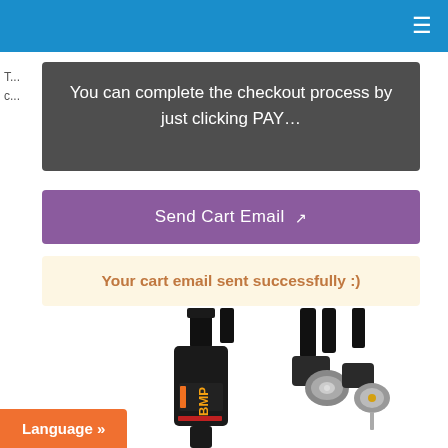Navigation bar with hamburger menu
You can complete the checkout process by just clicking PAY...
Send Cart Email
Your cart email sent successfully :)
[Figure (photo): Product photo showing black cable connectors and adapters including BMP branded connector on white background]
Language »